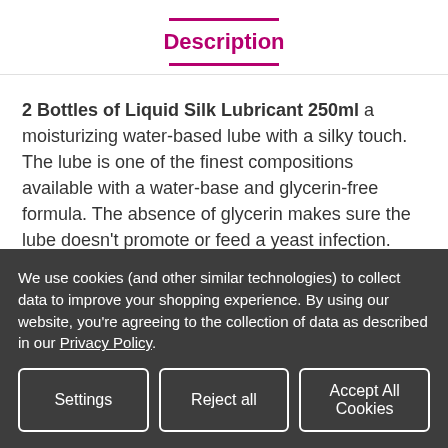Description
2 Bottles of Liquid Silk Lubricant 250ml a moisturizing water-based lube with a silky touch. The lube is one of the finest compositions available with a water-base and glycerin-free formula. The absence of glycerin makes sure the lube doesn't promote or feed a yeast infection. The lubricant offers a silky touch and is great for reducing friction while in amorous activities. It is suitable for everyone's use, although it is especially beneficial for
We use cookies (and other similar technologies) to collect data to improve your shopping experience. By using our website, you're agreeing to the collection of data as described in our Privacy Policy.
Settings | Reject all | Accept All Cookies